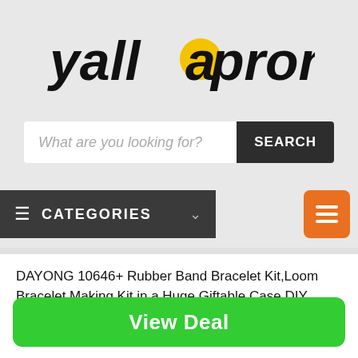[Figure (logo): yallapromos logo in bold italic black text with yellow circle dot over the letter 'a' between 'yall' and 'promos']
What are you looking for?
SEARCH
CATEGORIES
DAYONG 10646+ Rubber Band Bracelet Kit,Loom Bracelet Making Kit in a Huge Giftable Case,DIY Band Bracelet Mega Refill Kit Girls Gift (Style 1)
View Deal